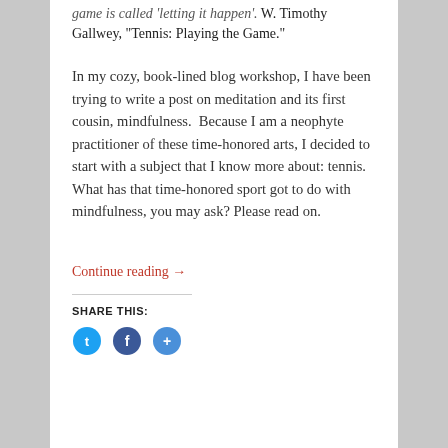game is called 'letting it happen'. W. Timothy Gallwey, "Tennis: Playing the Game."
In my cozy, book-lined blog workshop, I have been trying to write a post on meditation and its first cousin, mindfulness.  Because I am a neophyte practitioner of these time-honored arts, I decided to start with a subject that I know more about: tennis. What has that time-honored sport got to do with mindfulness, you may ask? Please read on.
Continue reading →
SHARE THIS: